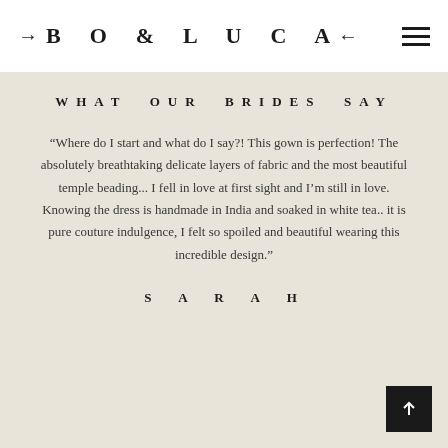→B O & L U C A←
WHAT OUR BRIDES SAY
“Where do I start and what do I say?! This gown is perfection! The absolutely breathtaking delicate layers of fabric and the most beautiful temple beading... I fell in love at first sight and I’m still in love. Knowing the dress is handmade in India and soaked in white tea.. it is pure couture indulgence, I felt so spoiled and beautiful wearing this incredible design.”
SARAH